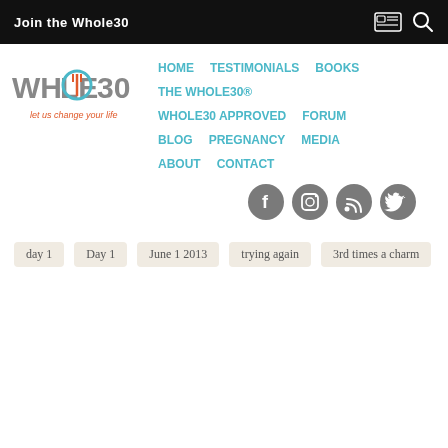Join the Whole30
[Figure (logo): Whole30 logo with tagline 'let us change your life']
HOME
TESTIMONIALS
BOOKS
THE WHOLE30®
WHOLE30 APPROVED
FORUM
BLOG
PREGNANCY
MEDIA
ABOUT
CONTACT
[Figure (infographic): Social media icons: Facebook, Instagram, RSS, Twitter]
day 1
Day 1
June 1 2013
trying again
3rd times a charm